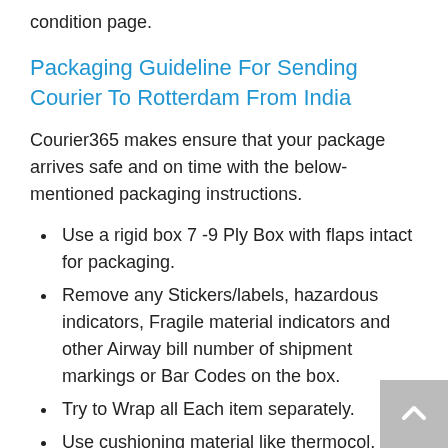condition page.
Packaging Guideline For Sending Courier To Rotterdam From India
Courier365 makes ensure that your package arrives safe and on time with the below-mentioned packaging instructions.
Use a rigid box 7 -9 Ply Box with flaps intact for packaging.
Remove any Stickers/labels, hazardous indicators, Fragile material indicators and other Airway bill number of shipment markings or Bar Codes on the box.
Try to Wrap all Each item separately.
Use cushioning material like thermocol, bubble sheet, Form, Plastic wrapping material so that courier/ parcel reaches safe.
Use b Adhesive or Plastic tape for packing of